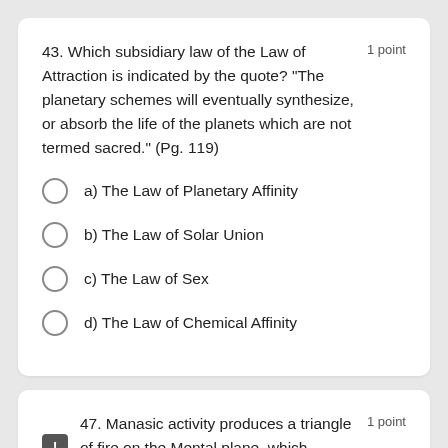43. Which subsidiary law of the Law of Attraction is indicated by the quote?  "The planetary schemes will eventually synthesize, or absorb the life of the planets which are not termed sacred."  (Pg. 119)
1 point
a) The Law of Planetary Affinity
b) The Law of Solar Union
c) The Law of Sex
d) The Law of Chemical Affinity
47. Manasic activity produces a triangle of fire on the Mental plane, which begins to circulate between the Manasic Permanent
1 point